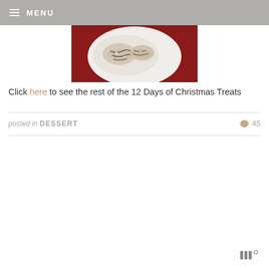MENU
[Figure (photo): Food photo showing cookies or pastries on a white plate against a red background]
Click here to see the rest of the 12 Days of Christmas Treats
posted in DESSERT   45